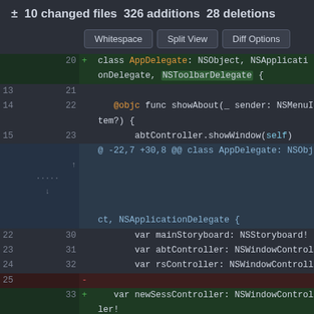± 10 changed files 326 additions 28 deletions
[Figure (screenshot): Git diff view showing code changes to AppDelegate Swift file with added and removed lines, including new NSToolbarDelegate conformance and newSessController property.]